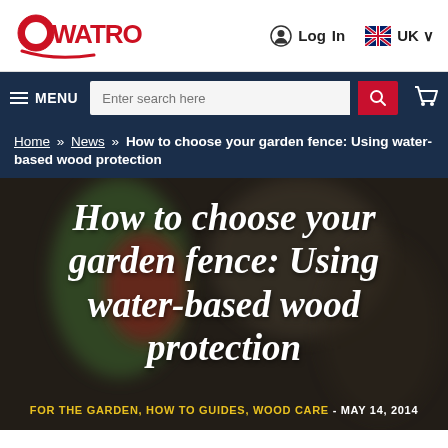Owatrol | Log In | UK
MENU | Enter search here
Home » News » How to choose your garden fence: Using water-based wood protection
How to choose your garden fence: Using water-based wood protection
FOR THE GARDEN, HOW TO GUIDES, WOOD CARE - MAY 14, 2014